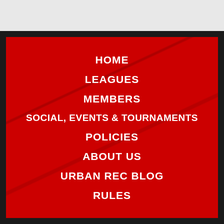HOME
LEAGUES
MEMBERS
SOCIAL, EVENTS & TOURNAMENTS
POLICIES
ABOUT US
URBAN REC BLOG
RULES